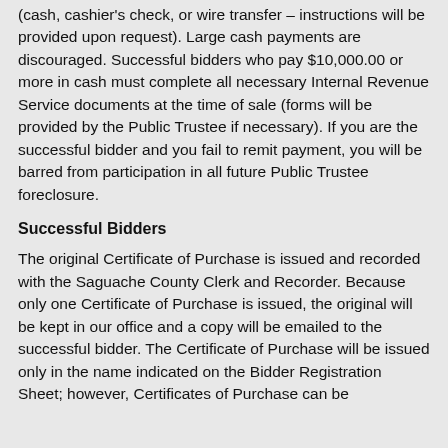(cash, cashier's check, or wire transfer – instructions will be provided upon request). Large cash payments are discouraged. Successful bidders who pay $10,000.00 or more in cash must complete all necessary Internal Revenue Service documents at the time of sale (forms will be provided by the Public Trustee if necessary). If you are the successful bidder and you fail to remit payment, you will be barred from participation in all future Public Trustee foreclosure.
Successful Bidders
The original Certificate of Purchase is issued and recorded with the Saguache County Clerk and Recorder. Because only one Certificate of Purchase is issued, the original will be kept in our office and a copy will be emailed to the successful bidder. The Certificate of Purchase will be issued only in the name indicated on the Bidder Registration Sheet; however, Certificates of Purchase can be